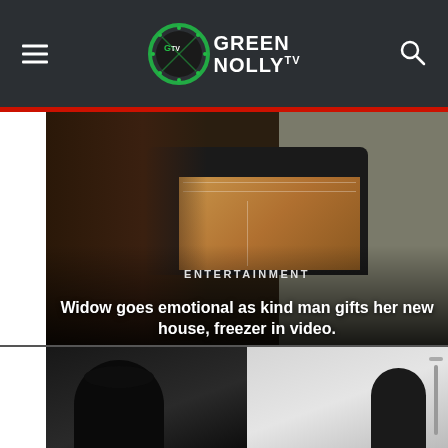GREEN NOLLY TV
[Figure (photo): A woman near a car trunk with a large cardboard box (freezer), with shelving visible in background. Text overlay shows ENTERTAINMENT category and article headline.]
ENTERTAINMENT
Widow goes emotional as kind man gifts her new house, freezer in video.
[Figure (photo): Two-panel photo showing people in dark clothing on left panel and right panel with lighter background.]